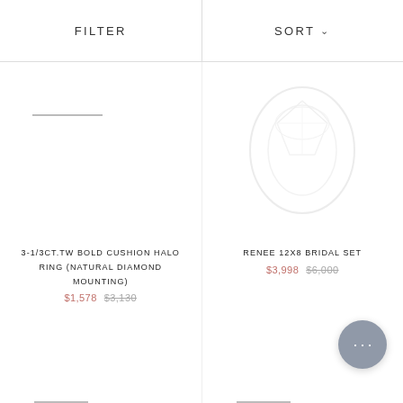FILTER   SORT
[Figure (photo): Product image placeholder for left card - dash line]
3-1/3CT.TW BOLD CUSHION HALO RING (NATURAL DIAMOND MOUNTING)
$1,578   $3,130
[Figure (photo): Faded diamond ring product photo for RENEE 12X8 BRIDAL SET]
RENEE 12X8 BRIDAL SET
$3,998   $6,000